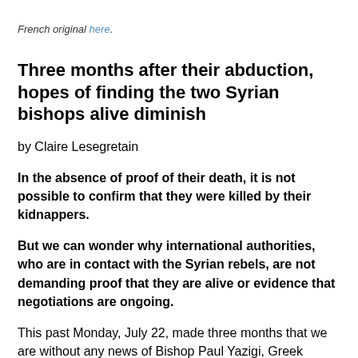French original here.
Three months after their abduction, hopes of finding the two Syrian bishops alive diminish
by Claire Lesegretain
In the absence of proof of their death, it is not possible to confirm that they were killed by their kidnappers.
But we can wonder why international authorities, who are in contact with the Syrian rebels, are not demanding proof that they are alive or evidence that negotiations are ongoing.
This past Monday, July 22, made three months that we are without any news of Bishop Paul Yazigi, Greek Orthodox Metropolitan of Aleppo, and Bishop John Ibrahim, Syriac